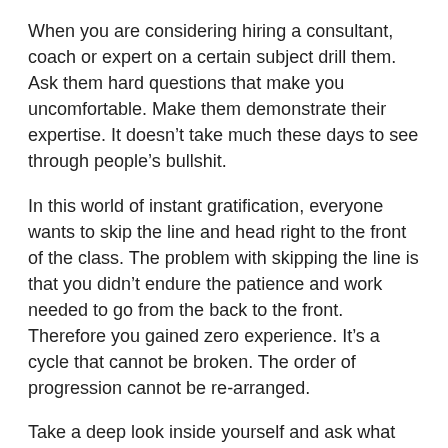When you are considering hiring a consultant, coach or expert on a certain subject drill them. Ask them hard questions that make you uncomfortable. Make them demonstrate their expertise. It doesn't take much these days to see through people's bullshit.
In this world of instant gratification, everyone wants to skip the line and head right to the front of the class. The problem with skipping the line is that you didn't endure the patience and work needed to go from the back to the front. Therefore you gained zero experience. It's a cycle that cannot be broken. The order of progression cannot be re-arranged.
Take a deep look inside yourself and ask what phase are you in. Next, take a deep look at the 5 closest people around you and ask yourself what phase are they in. Lastly, look at the people you trust as mentors, advisors and consultants, what